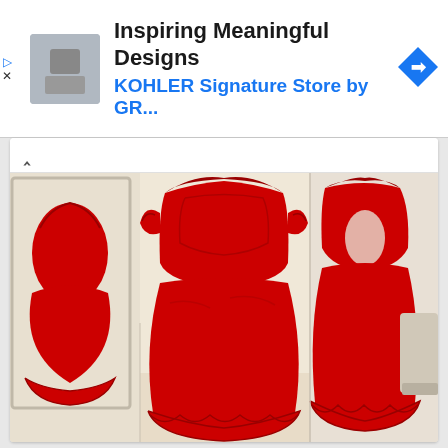[Figure (screenshot): Facebook ad banner showing 'Inspiring Meaningful Designs' with subtitle 'KOHLER Signature Store by GR...' with profile thumbnail and share icon]
[Figure (photo): Photo of red lace cocktail dresses on mannequins shown from front and back views, with ornate lace detailing on the bodice and cap sleeves]